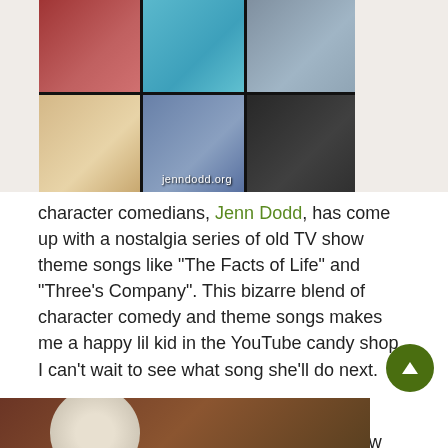[Figure (photo): A 2x3 grid of 6 comedic/character photos featuring various performers including redhead woman, woman in green, person in hoodie, drag performer, person with glasses on phone, and woman in dark jacket. Watermark reads 'jenndodd.org']
character comedians, Jenn Dodd, has come up with a nostalgia series of old TV show theme songs like “The Facts of Life” and “Three’s Company”.  This bizarre blend of character comedy and theme songs makes me a happy lil kid in the YouTube candy shop. I can’t wait to see what song she’ll do next.
Check out Jenn Dodd’s videos here.
***She takes recommendations of TV show theme songs. I’m waiting for “Charles in Charge”.
[Figure (photo): Partial image of a circular food item at the bottom of the page]